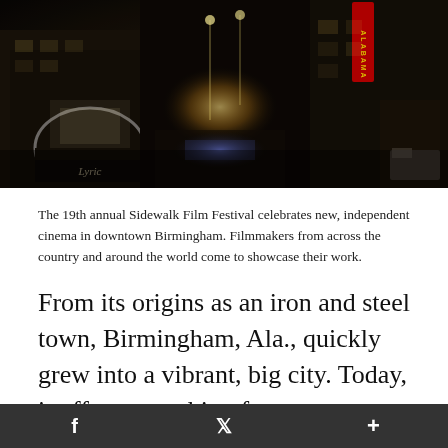[Figure (photo): Aerial night view of a crowded downtown street with illuminated buildings. The Alabama Theatre sign glows red on the right, the Lyric theater arch is visible on the left, and bright stage lights illuminate the crowd below during the Sidewalk Film Festival.]
The 19th annual Sidewalk Film Festival celebrates new, independent cinema in downtown Birmingham. Filmmakers from across the country and around the world come to showcase their work.
From its origins as an iron and steel town, Birmingham, Ala., quickly grew into a vibrant, big city. Today, it offers something for everyone. History buffs can sift through the city's rich civil rights history, science-lovers
f   𝕏   +